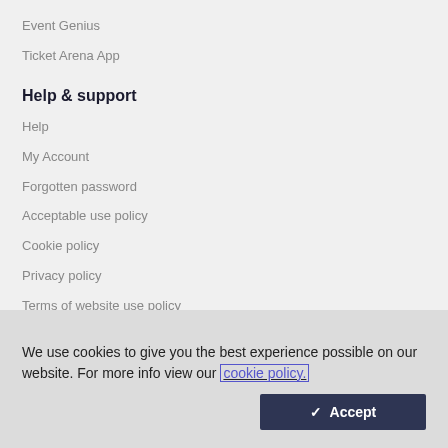Event Genius
Ticket Arena App
Help & support
Help
My Account
Forgotten password
Acceptable use policy
Cookie policy
Privacy policy
Terms of website use policy
Terms & conditions
We use cookies to give you the best experience possible on our website. For more info view our cookie policy.